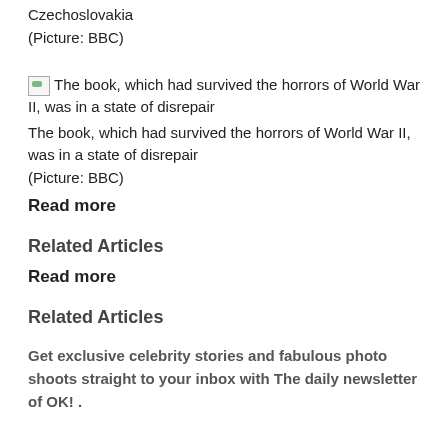Czechoslovakia
(Picture: BBC)
[Figure (photo): Broken/missing image placeholder for: The book, which had survived the horrors of World War II, was in a state of disrepair]
The book, which had survived the horrors of World War II, was in a state of disrepair
(Picture: BBC)
Read more
Related Articles
Read more
Related Articles
Get exclusive celebrity stories and fabulous photo shoots straight to your inbox with The daily newsletter of OK! .